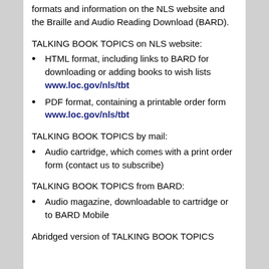formats and information on the NLS website and the Braille and Audio Reading Download (BARD).
TALKING BOOK TOPICS on NLS website:
HTML format, including links to BARD for downloading or adding books to wish lists www.loc.gov/nls/tbt
PDF format, containing a printable order form www.loc.gov/nls/tbt
TALKING BOOK TOPICS by mail:
Audio cartridge, which comes with a print order form (contact us to subscribe)
TALKING BOOK TOPICS from BARD:
Audio magazine, downloadable to cartridge or to BARD Mobile
Abridged version of TALKING BOOK TOPICS